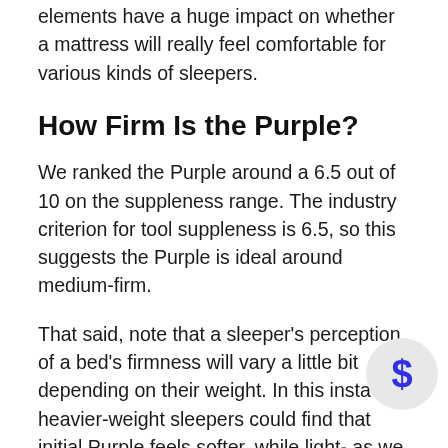elements have a huge impact on whether a mattress will really feel comfortable for various kinds of sleepers.
How Firm Is the Purple?
We ranked the Purple around a 6.5 out of 10 on the suppleness range. The industry criterion for tool suppleness is 6.5, so this suggests the Purple is ideal around medium-firm.
That said, note that a sleeper's perception of a bed's firmness will vary a little bit depending on their weight. In this insta heavier-weight sleepers could find that initial Purple feels softer, while light- as we as medium-weight folks may find it to be a